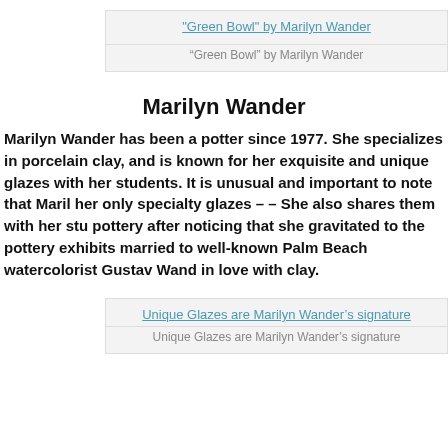[Figure (other): Image placeholder: "Green Bowl" by Marilyn Wander with link text]
“Green Bowl” by Marilyn Wander
Marilyn Wander
Marilyn Wander has been a potter since 1977. She specializes in porcelain clay, and is known for her exquisite and unique glazes with her students. It is unusual and important to note that Marilyn her only specialty glazes – – She also shares them with her students pottery after noticing that she gravitated to the pottery exhibits married to well-known Palm Beach watercolorist Gustav Wander in love with clay.
[Figure (other): Image placeholder: Unique Glazes are Marilyn Wander's signature]
Unique Glazes are Marilyn Wander’s signature